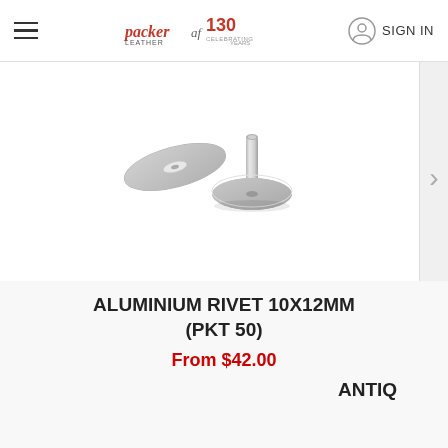Packer Leather - Celebrating 130 years - SIGN IN
[Figure (photo): Silver aluminium rivet with two parts: a flat disc cap and a cylindrical pin with a base flange, shown disassembled on white background]
ALUMINIUM RIVET 10X12MM (PKT 50)
From $42.00